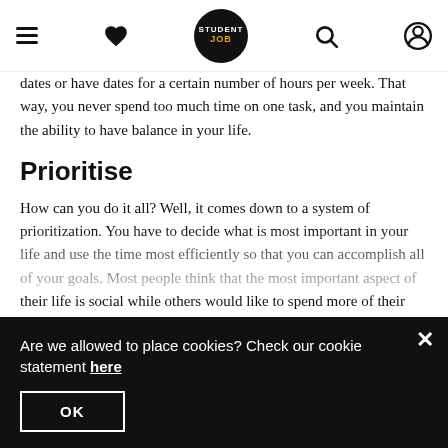StudentJob navigation bar with hamburger, heart, logo, search, and account icons
dates or have dates for a certain number of hours per week. That way, you never spend too much time on one task, and you maintain the ability to have balance in your life.
Prioritise
How can you do it all? Well, it comes down to a system of prioritization. You have to decide what is most important in your life and use the time most efficiently so that you can accomplish all of your goals. Most people think that the most important aspect of their life is social while others would like to spend more of their time involved in studies. Whether social interactions, school, or work is the most efficient way for you to use your time, you have to decide, as you need to include all of the elements of your life in your plan for prioritization.
Use your time efficiently
Are we allowed to place cookies? Check our cookie statement here
OK